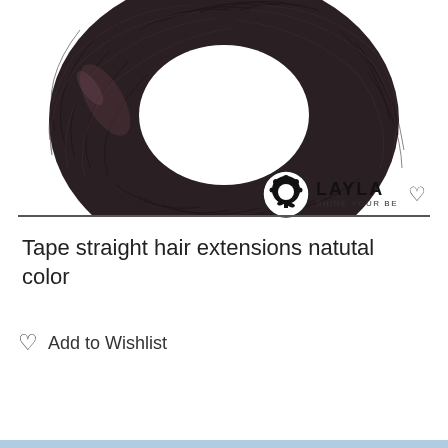[Figure (photo): Dark brown hair extensions coiled into a donut/ring shape on a white background]
[Figure (logo): Layla brand logo with circular tree/afro icon and text 'LAYLA SHINE YOUR BE']
Tape straight hair extensions natutal color
♡  Add to Wishlist